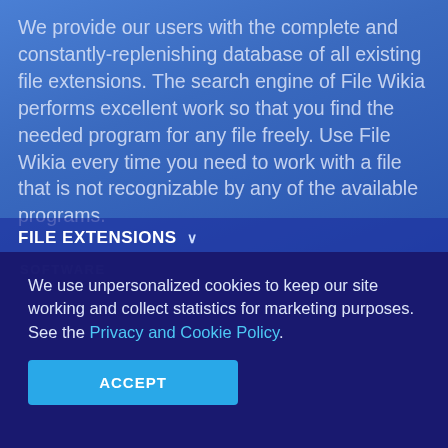We provide our users with the complete and constantly-replenishing database of all existing file extensions. The search engine of File Wikia performs excellent work so that you find the needed program for any file freely. Use File Wikia every time you need to work with a file that is not recognizable by any of the available programs.
FILE EXTENSIONS ∨
SOFTWARE
We use unpersonalized cookies to keep our site working and collect statistics for marketing purposes. See the Privacy and Cookie Policy.
ACCEPT